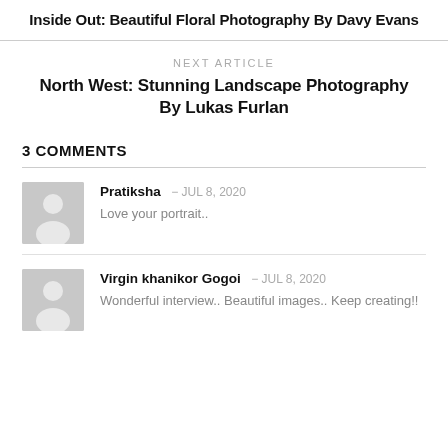Inside Out: Beautiful Floral Photography By Davy Evans
NEXT ARTICLE
North West: Stunning Landscape Photography By Lukas Furlan
3 COMMENTS
Pratiksha – JUL 8, 2020
Love your portrait..
Virgin khanikor Gogoi – JUL 8, 2020
Wonderful interview.. Beautiful images.. Keep creating!!